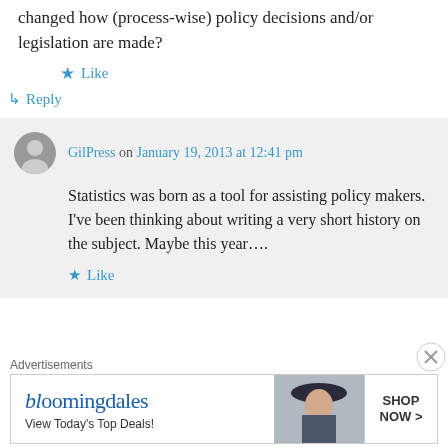changed how (process-wise) policy decisions and/or legislation are made?
Like
Reply
GilPress on January 19, 2013 at 12:41 pm
Statistics was born as a tool for assisting policy makers. I’ve been thinking about writing a very short history on the subject. Maybe this year….
Like
Advertisements
[Figure (other): Bloomingdale's advertisement banner: logo text 'bloomingdales', tagline 'View Today’s Top Deals!', image of woman in hat, 'SHOP NOW >' button]